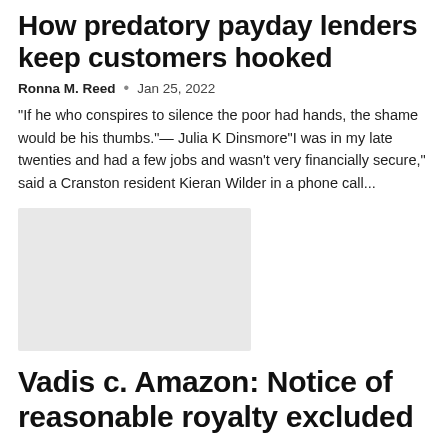How predatory payday lenders keep customers hooked
Ronna M. Reed  •  Jan 25, 2022
"If he who conspires to silence the poor had hands, the shame would be his thumbs."— Julia K Dinsmore"I was in my late twenties and had a few jobs and wasn't very financially secure," said a Cranston resident Kieran Wilder in a phone call...
[Figure (photo): Gray placeholder image for article thumbnail]
Vadis c. Amazon: Notice of reasonable royalty excluded